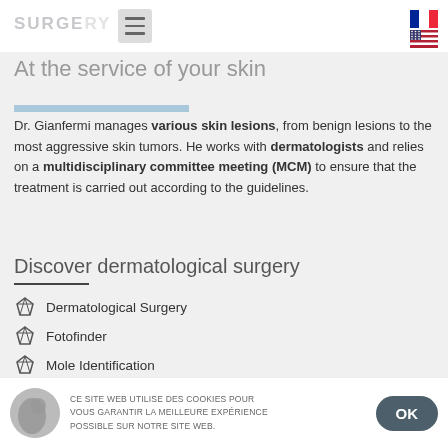SURGERY — At the service of your skin
Dr. Gianfermi manages various skin lesions, from benign lesions to the most aggressive skin tumors. He works with dermatologists and relies on a multidisciplinary committee meeting (MCM) to ensure that the treatment is carried out according to the guidelines.
Discover dermatological surgery
Dermatological Surgery
Fotofinder
Mole Identification
Various Skin Tumors
Ce site web utilise des cookies pour vous garantir la meilleure expérience possible sur notre site web. OK